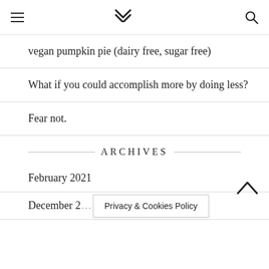≡  ❯❯  ☾  🔍
vegan pumpkin pie (dairy free, sugar free)
What if you could accomplish more by doing less?
Fear not.
ARCHIVES
February 2021
December 2…
Privacy & Cookies Policy